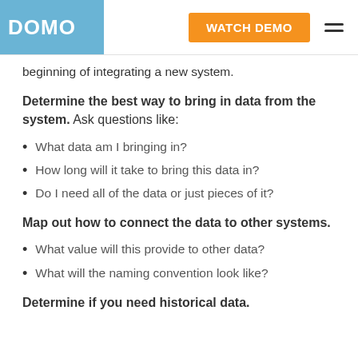DOMO | WATCH DEMO
beginning of integrating a new system.
Determine the best way to bring in data from the system. Ask questions like:
What data am I bringing in?
How long will it take to bring this data in?
Do I need all of the data or just pieces of it?
Map out how to connect the data to other systems.
What value will this provide to other data?
What will the naming convention look like?
Determine if you need historical data.